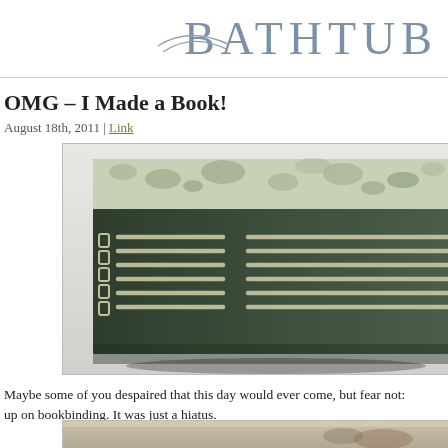BATHTUB
OMG – I Made a Book!
August 18th, 2011 | Link
[Figure (photo): Close-up photograph of a handmade book with a dark green cloth spine and marbled green/white paper cover. The spine features exposed Coptic-style stitching in two groups of parallel white thread lines, with a chain link stitch visible on the left edge.]
Maybe some of you despaired that this day would ever come, but fear not: up on bookbinding. It was just a hiatus.
[Figure (photo): Partial view of a second photograph showing bookbinding materials or another book, cropped at the bottom of the page.]